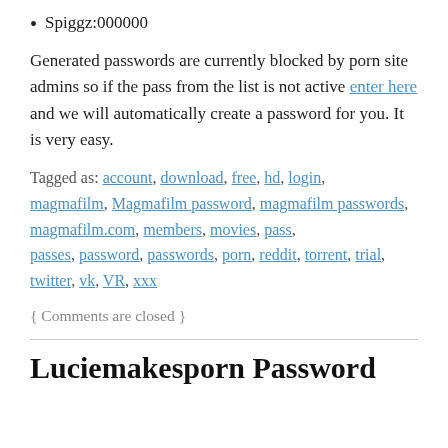Spiggz:000000
Generated passwords are currently blocked by porn site admins so if the pass from the list is not active enter here and we will automatically create a password for you. It is very easy.
Tagged as: account, download, free, hd, login, magmafilm, Magmafilm password, magmafilm passwords, magmafilm.com, members, movies, pass, passes, password, passwords, porn, reddit, torrent, trial, twitter, vk, VR, xxx
{ Comments are closed }
Luciemakesporn Password